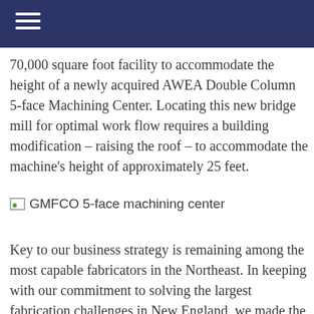70,000 square foot facility to accommodate the height of a newly acquired AWEA Double Column 5-face Machining Center. Locating this new bridge mill for optimal work flow requires a building modification – raising the roof – to accommodate the machine's height of approximately 25 feet.
[Figure (photo): GMFCO 5-face machining center image placeholder]
GMFCO 5-face machining center
Key to our business strategy is remaining among the most capable fabricators in the Northeast. In keeping with our commitment to solving the largest fabrication challenges in New England, we made the decision to invest in a machine which can do machining